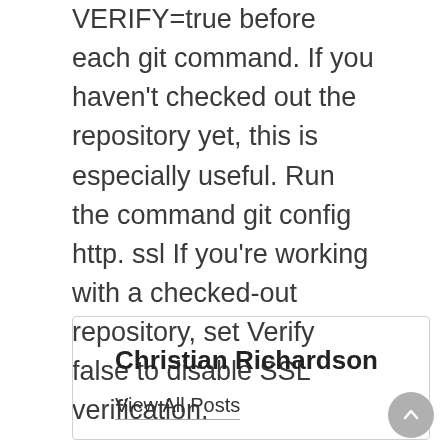VERIFY=true before each git command. If you haven't checked out the repository yet, this is especially useful. Run the command git config http. ssl If you're working with a checked-out repository, set Verify false to disable SSL verification.
Source link
Christian Richardson
View All Posts